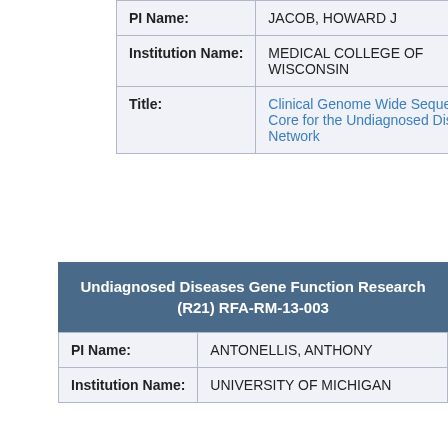| PI Name: | JACOB, HOWARD J |
| Institution Name: | MEDICAL COLLEGE OF WISCONSIN |
| Title: | Clinical Genome Wide Sequencing Core for the Undiagnosed Disease Network |
| PI Name: | ANTONELLIS, ANTHONY |
| Institution Name: | UNIVERSITY OF MICHIGAN |